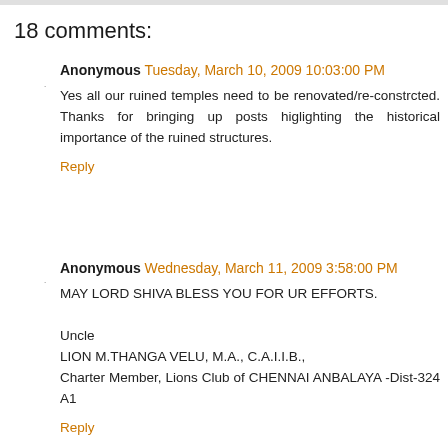18 comments:
Anonymous Tuesday, March 10, 2009 10:03:00 PM
Yes all our ruined temples need to be renovated/reconstructed. Thanks for bringing up posts higlighting the historical importance of the ruined structures.
Reply
Anonymous Wednesday, March 11, 2009 3:58:00 PM
MAY LORD SHIVA BLESS YOU FOR UR EFFORTS.

Uncle
LION M.THANGA VELU, M.A., C.A.I.I.B.,
Charter Member, Lions Club of CHENNAI ANBALAYA -Dist-324 A1
Reply